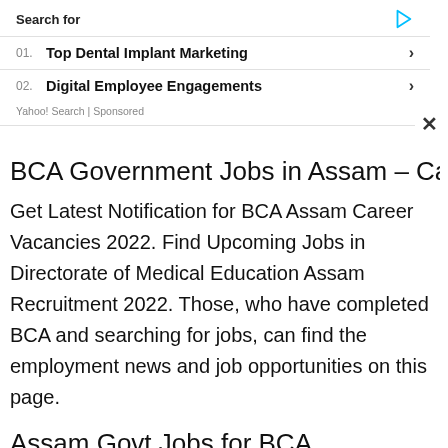[Figure (screenshot): Yahoo Search sponsored ad overlay showing 'Search for' header with play icon, two ad items: '01. Top Dental Implant Marketing' and '02. Digital Employee Engagements', followed by 'Yahoo! Search | Sponsored' footer text]
BCA Government Jobs in Assam – Caree
Get Latest Notification for BCA Assam Career Vacancies 2022. Find Upcoming Jobs in Directorate of Medical Education Assam Recruitment 2022. Those, who have completed BCA and searching for jobs, can find the employment news and job opportunities on this page.
Assam Govt Jobs for BCA Qualification
Find Direct Apply Link here for Latest Assam Careers and Upcoming Jobs 2022 for BCA. Visit this page regularly for daily employment job alerts and get Assam career news for BCA Govt Jobs in Assam Recruitment Notification 2022.